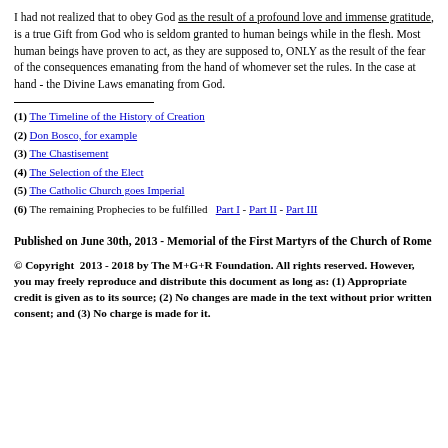I had not realized that to obey God as the result of a profound love and immense gratitude, is a true Gift from God who is seldom granted to human beings while in the flesh. Most human beings have proven to act, as they are supposed to, ONLY as the result of the fear of the consequences emanating from the hand of whomever set the rules. In the case at hand - the Divine Laws emanating from God.
(1) The Timeline of the History of Creation
(2) Don Bosco, for example
(3) The Chastisement
(4) The Selection of the Elect
(5) The Catholic Church goes Imperial
(6) The remaining Prophecies to be fulfilled  Part I - Part II - Part III
Published on June 30th, 2013 - Memorial of the First Martyrs of the Church of Rome
© Copyright  2013 - 2018 by The M+G+R Foundation. All rights reserved. However, you may freely reproduce and distribute this document as long as: (1) Appropriate credit is given as to its source; (2) No changes are made in the text without prior written consent; and (3) No charge is made for it.